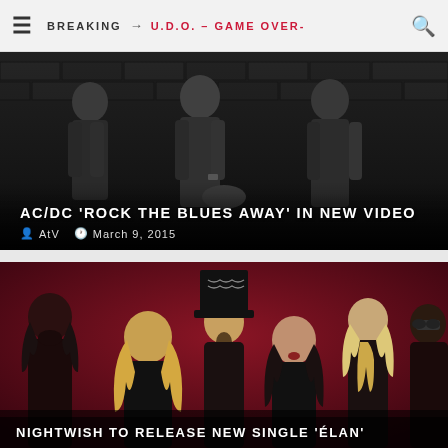BREAKING → U.D.O. – GAME OVER-
[Figure (photo): Black and white photo of band members (AC/DC) standing against a brick wall]
AC/DC 'ROCK THE BLUES AWAY' IN NEW VIDEO
AtV  March 9, 2015
[Figure (photo): Color photo of Nightwish band members posing against a red/pink background, including a man in a top hat]
NIGHTWISH TO RELEASE NEW SINGLE 'ÉLAN'